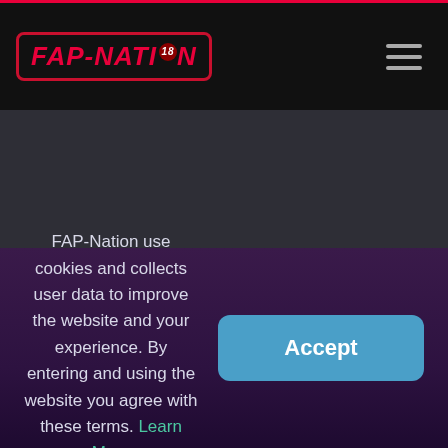[Figure (logo): FAP-NATION logo with red text and blue accent, 18 badge, inside a red-bordered rounded rectangle on black background]
[Figure (other): Hamburger menu icon (three horizontal lines) in grey on black background, top right corner]
[Figure (other): Dark grey content area filling middle of page]
FAP-Nation use cookies and collects user data to improve the website and your experience. By entering and using the website you agree with these terms. Learn More